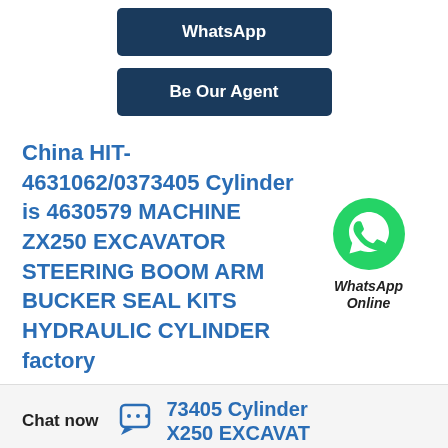[Figure (other): WhatsApp button — dark blue rounded rectangle with white bold text 'WhatsApp']
[Figure (other): Be Our Agent button — dark blue rounded rectangle with white bold text 'Be Our Agent']
China HIT-4631062/0373405 Cylinder is 4630579 MACHINE ZX250 EXCAVATOR STEERING BOOM ARM BUCKER SEAL KITS HYDRAULIC CYLINDER factory
[Figure (logo): Green WhatsApp icon circle with phone handset, labeled 'WhatsApp Online' in italic bold below]
CATEGORY
Hydraulic Seal Kits
Chat now
73405 Cylinder X250 EXCAVAT